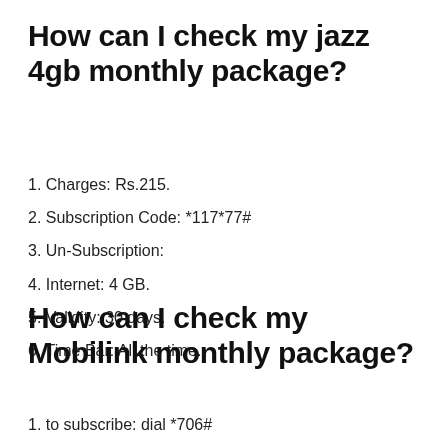How can I check my jazz 4gb monthly package?
1. Charges: Rs.215.
2. Subscription Code: *117*77#
3. Un-Subscription:
4. Internet: 4 GB.
5. Validity: 30 days.
6. Time Bar: All the time.
How can I check my Mobilink monthly package?
1. to subscribe: dial *706#